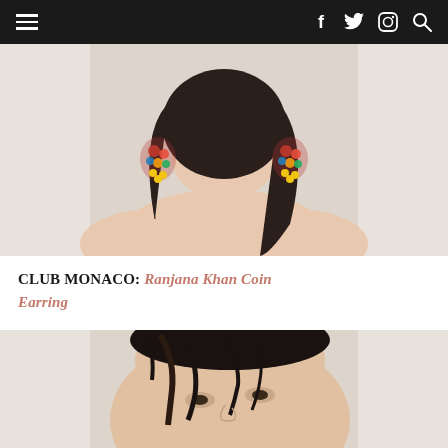Navigation bar with hamburger menu and social icons (Facebook, Twitter, Instagram, Search)
[Figure (photo): Woman from chin to shoulders with colorful Ranjana Khan coin earrings, wearing off-shoulder top, dark hair, light background]
CLUB MONACO: Ranjana Khan Coin Earring
[Figure (photo): Close-up of a woman's face with loose dark hair falling across her forehead, light background]